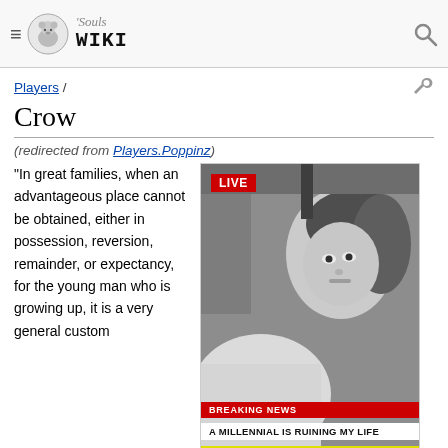'Souls Wiki
Players /
Crow
(redirected from Players.Poppinz)
“In great families, when an advantageous place cannot be obtained, either in possession, reversion, remainder, or expectancy, for the young man who is growing up, it is a very general custom
[Figure (photo): Black and white photo of a person with a dog, with a TV news broadcast overlay showing LIVE badge, BREAKING NEWS bar reading 'A MILLENNIAL IS RUINING MY LIFE' and yellow bar reading 'AND IT'S ME']